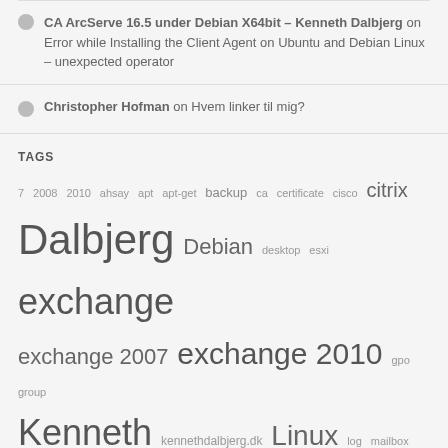CA ArcServe 16.5 under Debian X64bit – Kenneth Dalbjerg on Error while Installing the Client Agent on Ubuntu and Debian Linux – unexpected operator
Christopher Hofman on Hvem linker til mig?
TAGS
7 2008 2010 ahsay apt apt-get backup ca certificate cisco citrix Dalbjerg Debian desktop esxi exchange exchange 2007 exchange 2010 gpo group Kenneth kennethdalbjerg.dk Linux log mailbox Microsoft mssql mysql network office Office Communications Server Office Communications Server 2007 outlook powershell remote server shell sql ssl ubuntu vmware Windows xenapp